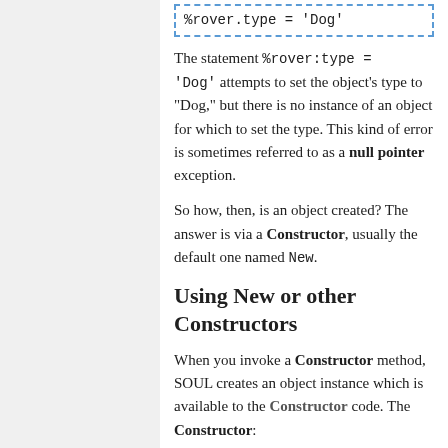[Figure (screenshot): Code box with dashed blue border showing: %rover.type = 'Dog']
The statement %rover:type = 'Dog' attempts to set the object's type to "Dog," but there is no instance of an object for which to set the type. This kind of error is sometimes referred to as a null pointer exception.
So how, then, is an object created? The answer is via a Constructor, usually the default one named New.
Using New or other Constructors
When you invoke a Constructor method, SOUL creates an object instance which is available to the Constructor code. The Constructor:
Operates on the new instance